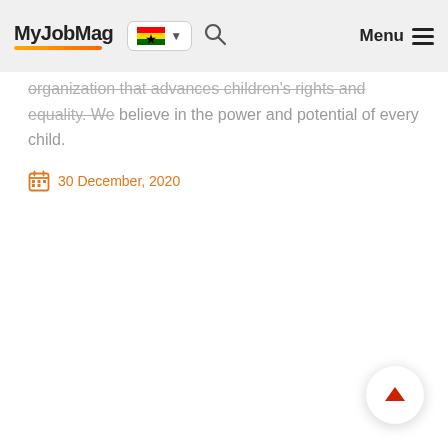MyJobMag — Navigation bar with logo, Ghana flag selector, search icon, and Menu
organization that advances children's rights and equality. We believe in the power and potential of every child.
30 December, 2020